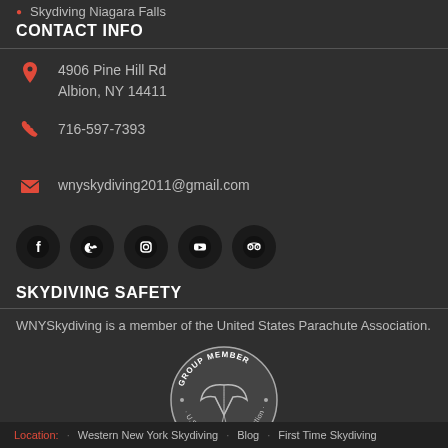Skydiving Niagara Falls
CONTACT INFO
4906 Pine Hill Rd
Albion, NY 14411
716-597-7393
wnyskydiving2011@gmail.com
[Figure (infographic): Row of 5 social media icon circles: Facebook, Twitter, Instagram, YouTube, TripAdvisor]
SKYDIVING SAFETY
WNYSkydiving is a member of the United States Parachute Association.
[Figure (logo): U.S. Parachute Association Group Member circular badge/logo in silver/grey with parachute illustration]
Location: · Western New York Skydiving · Blog · First Time Skydiving